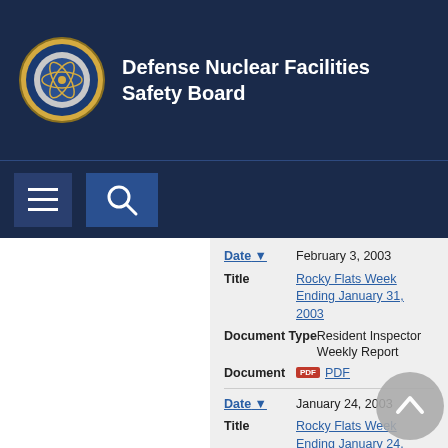Defense Nuclear Facilities Safety Board
[Figure (logo): DNFSB circular seal/logo]
[Figure (screenshot): Navigation bar with hamburger menu and search button]
| Field | Value |
| --- | --- |
| Date | February 3, 2003 |
| Title | Rocky Flats Week Ending January 31, 2003 |
| Document Type | Resident Inspector Weekly Report |
| Document | PDF |
| Field | Value |
| --- | --- |
| Date | January 24, 2003 |
| Title | Rocky Flats Week Ending January 24, 2003 |